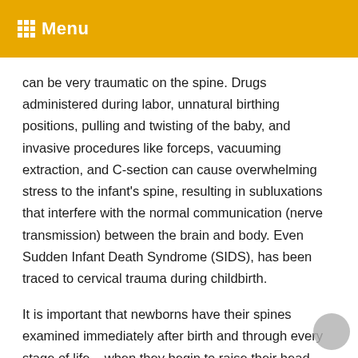Menu
can be very traumatic on the spine. Drugs administered during labor, unnatural birthing positions, pulling and twisting of the baby, and invasive procedures like forceps, vacuuming extraction, and C-section can cause overwhelming stress to the infant's spine, resulting in subluxations that interfere with the normal communication (nerve transmission) between the brain and body. Even Sudden Infant Death Syndrome (SIDS), has been traced to cervical trauma during childbirth.
It is important that newborns have their spines examined immediately after birth and through every stage of life – when they begin to raise their head, learn to crawl, and take their first steps. Chiropractic adjustments are gentle and safe in newborns, and will ensure proper nerve supply, chemical balance, and life energy to the newborn's nerves, organs, and